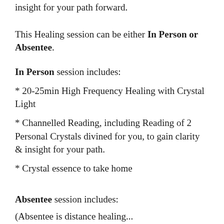insight for your path forward.
This Healing session can be either In Person or Absentee.
In Person session includes:
* 20-25min High Frequency Healing with Crystal Light
* Channelled Reading, including Reading of 2 Personal Crystals divined for you, to gain clarity & insight for your path.
* Crystal essence to take home
Absentee session includes:
(Absentee is distance healing...